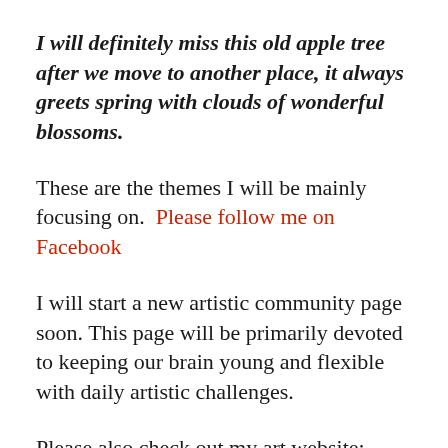I will definitely miss this old apple tree after we move to another place, it always greets spring with clouds of wonderful blossoms.
These are the themes I will be mainly focusing on.  Please follow me on Facebook
I will start a new artistic community page soon. This page will be primarily devoted to keeping our brain young and flexible with daily artistic challenges.
Please also check out my art website:  http://inesepogagallery.com/  It offers my own art and also numerous articles about how to start and